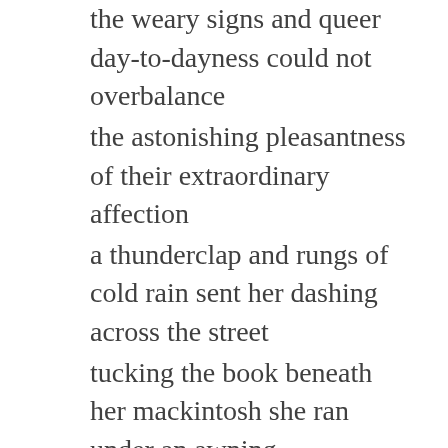the weary signs and queer day-to-dayness could not overbalance
the astonishing pleasantness of their extraordinary affection
a thunderclap and rungs of cold rain sent her dashing across the street
tucking the book beneath her mackintosh she ran under an awning
wiped her glasses with a small handkerchief then lit a cigarette
the book was blotted but not irrevocably still they would not take it back
better to leave it on a café table to dry and catch the eye of a passerby
she could purchase a copy of her own one she could pencil with marginalia
how many words could be written with a single pencil